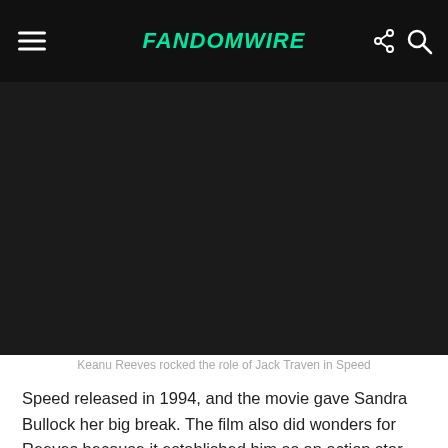FandomWire
[Figure (photo): Dark/black image area showing Keanu Reeves as Jack Traven in the movie Speed]
Keanu Reeves rocked the role of Jack Traven in Speed
Speed released in 1994, and the movie gave Sandra Bullock her big break. The film also did wonders for Reeves because it established him as an action star. The movie was a huge hit, and it was apparent that the producers will sequel it. Finally